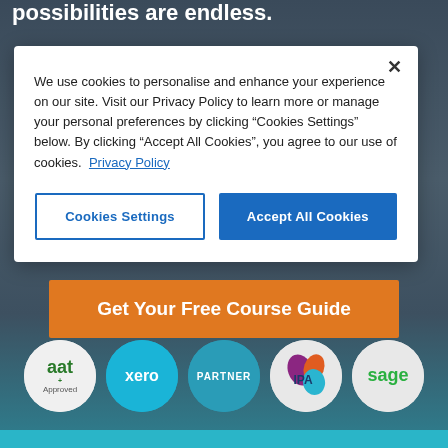Once you start learning, the possibilities are endless.
We use cookies to personalise and enhance your experience on our site. Visit our Privacy Policy to learn more or manage your personal preferences by clicking “Cookies Settings” below. By clicking “Accept All Cookies”, you agree to our use of cookies.  Privacy Policy
Cookies Settings
Accept All Cookies
Get Your Free Course Guide
[Figure (logo): AAT Approved logo in circular badge]
[Figure (logo): Xero logo in teal circular badge]
[Figure (logo): Partner logo in teal circular badge]
[Figure (logo): IPA logo in circular badge]
[Figure (logo): Sage logo in circular badge]